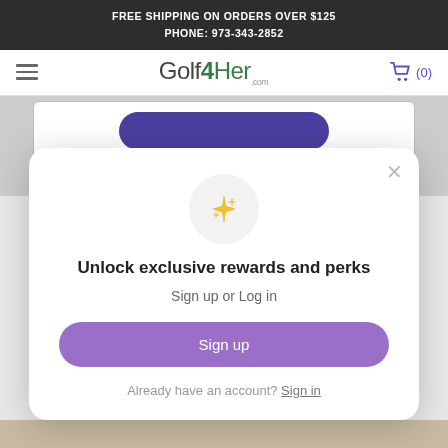FREE SHIPPING ON ORDERS OVER $125
PHONE: 973-343-2852
[Figure (logo): Golf4Her.com logo with hamburger menu and shopping cart (0)]
[Figure (screenshot): Partial background page content with purple button partially visible behind the modal overlay]
[Figure (infographic): Modal popup with sparkle icon, heading 'Unlock exclusive rewards and perks', Sign up or Log in subtitle, Sign up button, and Already have an account? Sign in link]
Unlock exclusive rewards and perks
Sign up or Log in
Sign up
Already have an account? Sign in